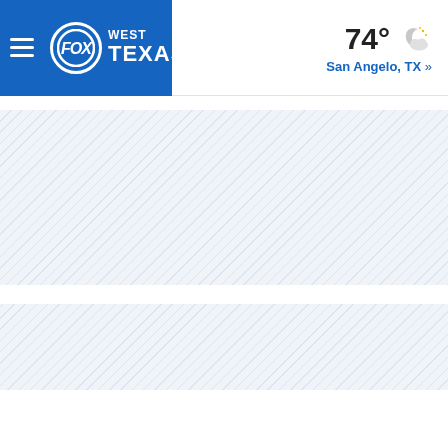FOX WEST TEXAS | 74° San Angelo, TX »
[Figure (other): Diagonal stripe placeholder/ad area below navigation header]
[Figure (other): Diagonal stripe placeholder/ad area in lower section]